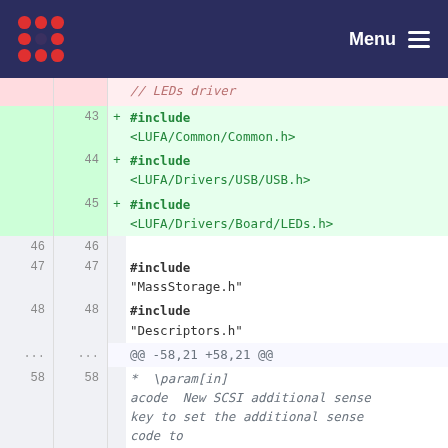Menu
// LEDs driver
43 + #include <LUFA/Common/Common.h>
44 + #include <LUFA/Drivers/USB/USB.h>
45 + #include <LUFA/Drivers/Board/LEDs.h>
46 46
47 47 #include "MassStorage.h"
48 48 #include "Descriptors.h"
... ... @@ -58,21 +58,21 @@
58 58 * \param[in] acode  New SCSI additional sense key to set the additional sense code to
59 59 * \param[in] aqual  New SCSI additional sense key qualifier to set the additional